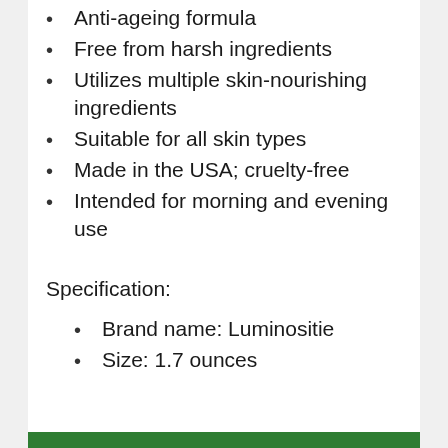Anti-ageing formula
Free from harsh ingredients
Utilizes multiple skin-nourishing ingredients
Suitable for all skin types
Made in the USA; cruelty-free
Intended for morning and evening use
Specification:
Brand name: Luminositie
Size: 1.7 ounces